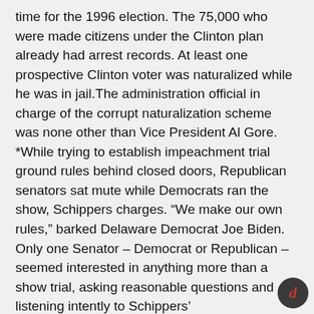time for the 1996 election. The 75,000 who were made citizens under the Clinton plan already had arrest records. At least one prospective Clinton voter was naturalized while he was in jail.The administration official in charge of the corrupt naturalization scheme was none other than Vice President Al Gore.
*While trying to establish impeachment trial ground rules behind closed doors, Republican senators sat mute while Democrats ran the show, Schippers charges. “We make our own rules,” barked Delaware Democrat Joe Biden. Only one Senator – Democrat or Republican – seemed interested in anything more than a show trial, asking reasonable questions and listening intently to Schippers’ recommendations.
That was Al Gore's vice presidential running mate, Sen. Joe Lieberman.
*The lengths to which the White House went to try and prevent Oval Office sexual assault victim Kathleen Willey from testifying have never been fully reported. In “Sellout,” Schippers details